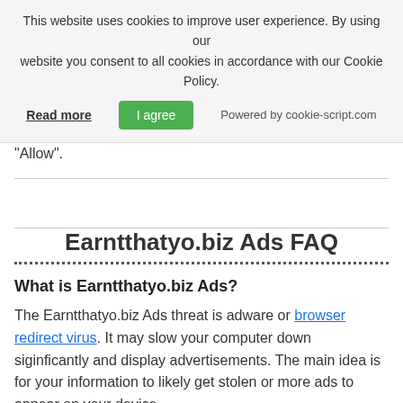This website uses cookies to improve user experience. By using our website you consent to all cookies in accordance with our Cookie Policy.
Read more | I agree | Powered by cookie-script.com
"Allow".
Earntthatyo.biz Ads FAQ
What is Earntthatyo.biz Ads?
The Earntthatyo.biz Ads threat is adware or browser redirect virus. It may slow your computer down siginficantly and display advertisements. The main idea is for your information to likely get stolen or more ads to appear on your device.